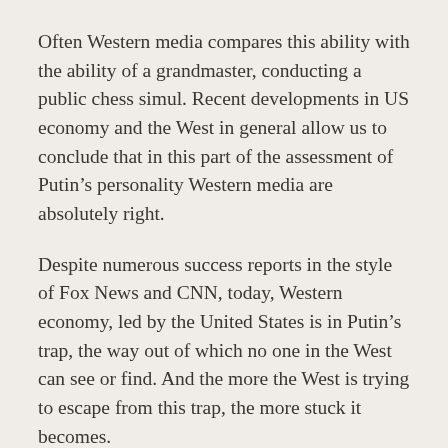Often Western media compares this ability with the ability of a grandmaster, conducting a public chess simul. Recent developments in US economy and the West in general allow us to conclude that in this part of the assessment of Putin’s personality Western media are absolutely right.
Despite numerous success reports in the style of Fox News and CNN, today, Western economy, led by the United States is in Putin’s trap, the way out of which no one in the West can see or find. And the more the West is trying to escape from this trap, the more stuck it becomes.
What is the truly tragic predicament of the West and the United States, in which they find themselves? And what do the Western media say about it? W...